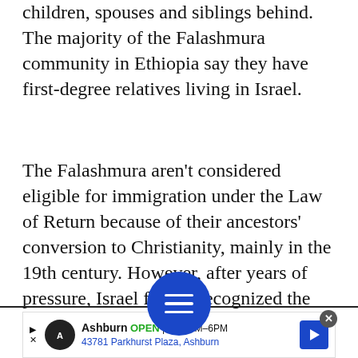children, spouses and siblings behind. The majority of the Falashmura community in Ethiopia say they have first-degree relatives living in Israel.
The Falashmura aren't considered eligible for immigration under the Law of Return because of their ancestors' conversion to Christianity, mainly in the 19th century. However, after years of pressure, Israel finally recognized the community with two groundbreaking cabinet decisions in 2003 and 2010 – with the caveat
[Figure (other): Blue circular floating action button with three horizontal white lines (hamburger/menu icon)]
Ashburn OPEN | 7:30 AM–6PM  43781 Parkhurst Plaza, Ashburn